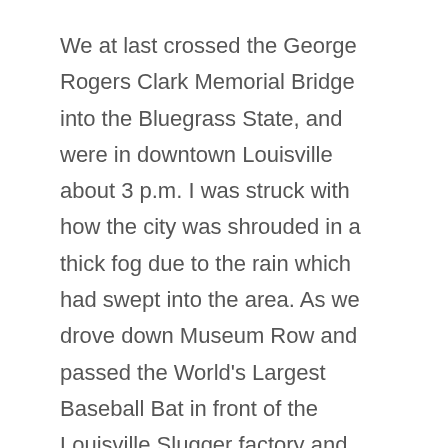We at last crossed the George Rogers Clark Memorial Bridge into the Bluegrass State, and were in downtown Louisville about 3 p.m. I was struck with how the city was shrouded in a thick fog due to the rain which had swept into the area. As we drove down Museum Row and passed the World's Largest Baseball Bat in front of the Louisville Slugger factory and museum, I initially thought that the downtown there was not all that dissimilar in its layout from Indianapolis' own.
We parked right by Michter's Fort Neslon Distillery, which itself is directly across the street from the Louisville Slugger. I snapped a photo of it before I went inside. It was my understanding that we would